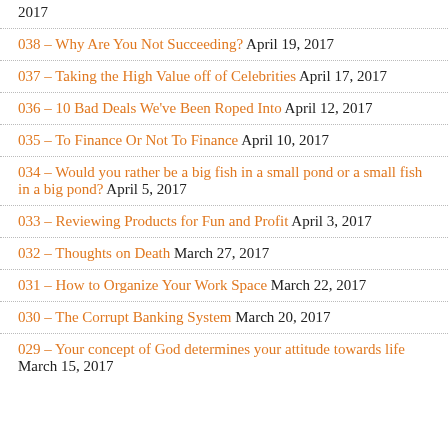2017
038 – Why Are You Not Succeeding? April 19, 2017
037 – Taking the High Value off of Celebrities April 17, 2017
036 – 10 Bad Deals We've Been Roped Into April 12, 2017
035 – To Finance Or Not To Finance April 10, 2017
034 – Would you rather be a big fish in a small pond or a small fish in a big pond? April 5, 2017
033 – Reviewing Products for Fun and Profit April 3, 2017
032 – Thoughts on Death March 27, 2017
031 – How to Organize Your Work Space March 22, 2017
030 – The Corrupt Banking System March 20, 2017
029 – Your concept of God determines your attitude towards life March 15, 2017